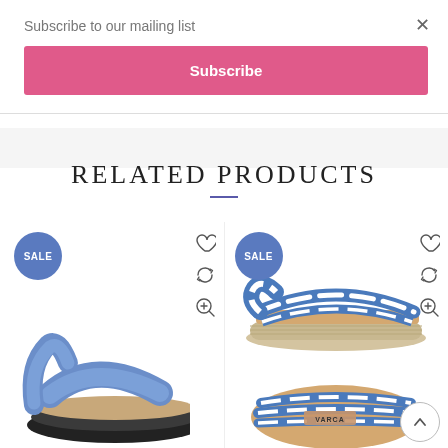Subscribe to our mailing list
×
Subscribe
RELATED PRODUCTS
[Figure (photo): Blue leather slingback sandal with SALE badge and action icons (heart, refresh, zoom)]
[Figure (photo): Blue and white striped espadrille platform sandal with SALE badge, shown from two angles, with action icons and scroll-to-top button]